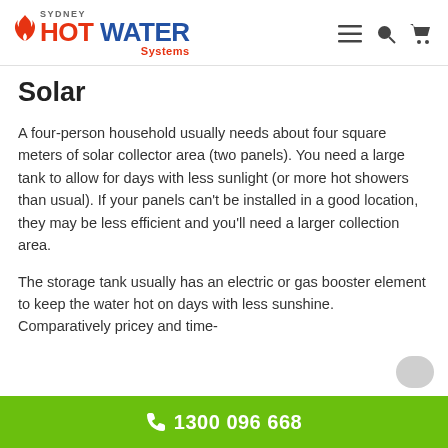Sydney Hot Water Systems
Solar
A four-person household usually needs about four square meters of solar collector area (two panels). You need a large tank to allow for days with less sunlight (or more hot showers than usual). If your panels can't be installed in a good location, they may be less efficient and you'll need a larger collection area.
The storage tank usually has an electric or gas booster element to keep the water hot on days with less sunshine. Comparatively pricey and time-
1300 096 668